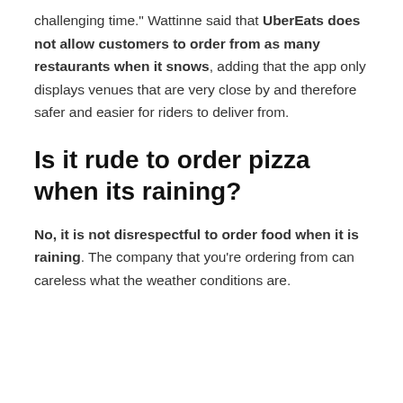challenging time." Wattinne said that UberEats does not allow customers to order from as many restaurants when it snows, adding that the app only displays venues that are very close by and therefore safer and easier for riders to deliver from.
Is it rude to order pizza when its raining?
No, it is not disrespectful to order food when it is raining. The company that you’re ordering from can careless what the weather conditions are.